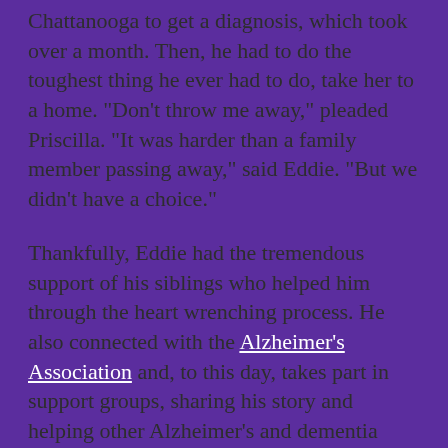Chattanooga to get a diagnosis, which took over a month. Then, he had to do the toughest thing he ever had to do, take her to a home. "Don't throw me away," pleaded Priscilla. "It was harder than a family member passing away," said Eddie. "But we didn't have a choice."
Thankfully, Eddie had the tremendous support of his siblings who helped him through the heart wrenching process. He also connected with the Alzheimer's Association and, to this day, takes part in support groups, sharing his story and helping other Alzheimer's and dementia caregivers. Discovered by Ft. Oglethorpe's UCTV at "Dancing Stars," an annual Alzheimer's Association fundraiser where Eddie used to speak, he is now a regular guest on a weekly TV show called "Senior Moments."